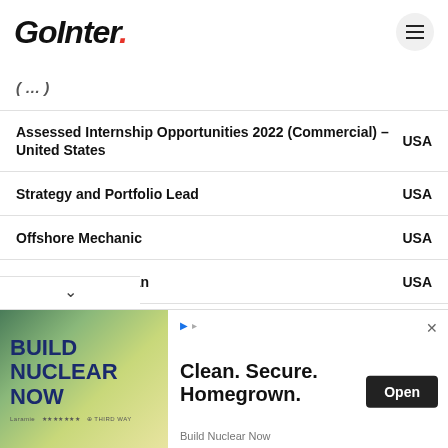GoInter.
Assessed Internship Opportunities 2022 (Commercial) – United States | USA
Strategy and Portfolio Lead | USA
Offshore Mechanic | USA
Offshore Electrician | USA
Offshore CAO/ET | USA
Offshore Operator | USA
[Figure (illustration): Advertisement banner: Build Nuclear Now campaign. Left side shows green/yellow gradient image with bold text 'BUILD NUCLEAR NOW'. Right side shows text 'Clean. Secure. Homegrown.' with an Open button and 'Build Nuclear Now' source label.]